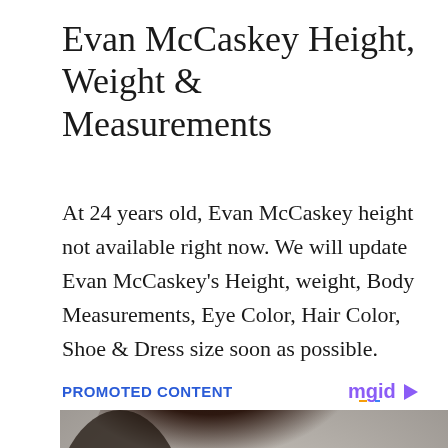Evan McCaskey Height, Weight & Measurements
At 24 years old, Evan McCaskey height not available right now. We will update Evan McCaskey’s Height, weight, Body Measurements, Eye Color, Hair Color, Shoe & Dress size soon as possible.
PROMOTED CONTENT
[Figure (photo): Photo of a woman with dark hair and professional makeup, photographed against a gray background in a fashion/portrait style.]